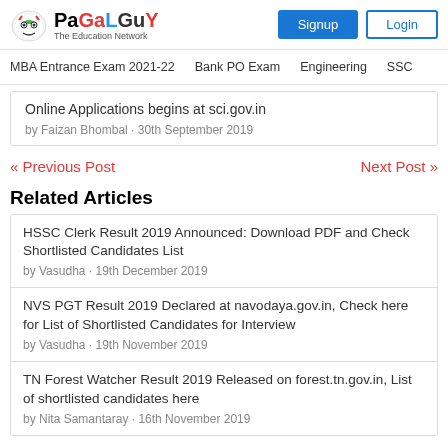PaGaLGuY - The Education Network | Signup | Login
MBA Entrance Exam 2021-22 | Bank PO Exam | Engineering | SSC
Online Applications begins at sci.gov.in
by Faizan Bhombal · 30th September 2019
« Previous Post | Next Post »
Related Articles
HSSC Clerk Result 2019 Announced: Download PDF and Check Shortlisted Candidates List
by Vasudha · 19th December 2019
NVS PGT Result 2019 Declared at navodaya.gov.in, Check here for List of Shortlisted Candidates for Interview
by Vasudha · 19th November 2019
TN Forest Watcher Result 2019 Released on forest.tn.gov.in, List of shortlisted candidates here
by Nita Samantaray · 16th November 2019